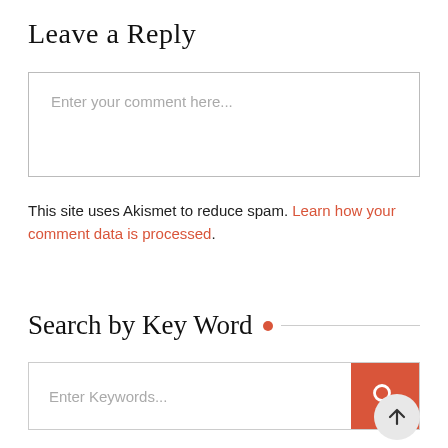Leave a Reply
Enter your comment here...
This site uses Akismet to reduce spam. Learn how your comment data is processed.
Search by Key Word
Enter Keywords...